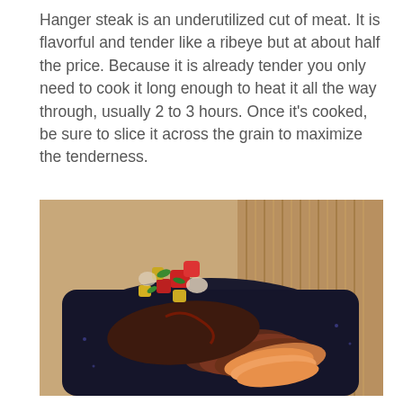Hanger steak is an underutilized cut of meat. It is flavorful and tender like a ribeye but at about half the price. Because it is already tender you only need to cook it long enough to heat it all the way through, usually 2 to 3 hours. Once it's cooked, be sure to slice it across the grain to maximize the tenderness.
[Figure (photo): A plated hanger steak dish on a dark square plate, sliced across the grain and topped with a colorful fresh salsa or topping of diced ingredients including tomatoes, peppers, greens, and other vegetables. The plate is set on a light wooden or striped surface.]